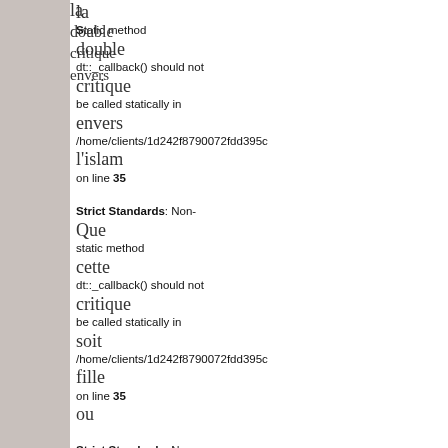static method dt::_callback() should not be called statically in /home/clients/1d242f8790072fdd395c on line 35
l'islam
Strict Standards: Non-static method dt::_callback() should not be called statically in /home/clients/1d242f8790072fdd395c on line 35
Que cette critique soit
Strict Standards: Non-static method dt::str() should not be called statically in /home/clients/1d242f8790072fdd395c on line 76
fille ou polémique d'ailleurs ?
Strict Standards: Non-static method dt::_callback() should not be called statically in /home/clients/1d242f8790072fdd395c on line 35
j'ai essai posé une question
Olivier Ron
Strict Standards: Non-static method dt::_callback() should not be called statically in /home/clients/1d242f8790072fdd395c on line 35
tombée
Strict Standards: Non-static method dt::_callback() should not be called statically in /home/clients/1d242f8790072fdd395c